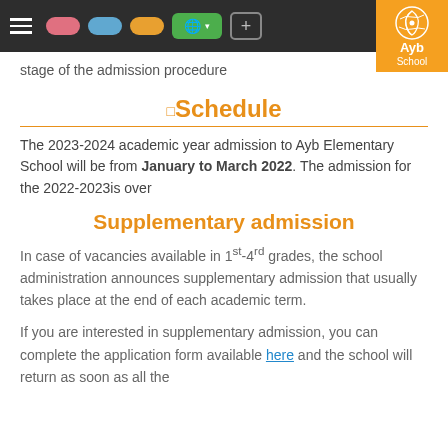Navigation bar with hamburger menu, colored pills, globe button, plus button, and Ayb School logo
stage of the admission procedure
□Schedule
The 2023-2024 academic year admission to Ayb Elementary School will be from January to March 2022. The admission for the 2022-2023is over
Supplementary admission
In case of vacancies available in 1st-4rd grades, the school administration announces supplementary admission that usually takes place at the end of each academic term.
If you are interested in supplementary admission, you can complete the application form available here and the school will return as soon as all the